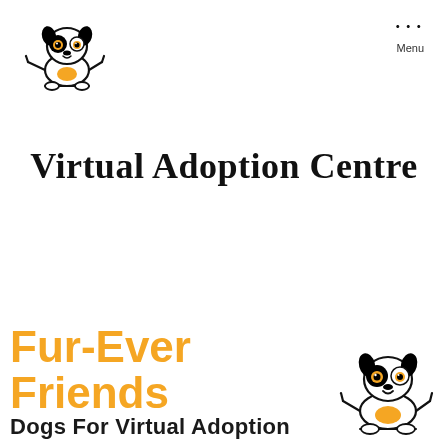[Figure (logo): Cartoon dog logo - black and white dog with yellow/orange spots, sitting with arms outstretched, black spots on face]
... Menu
Virtual Adoption Centre
[Figure (logo): Fur-Ever Friends Dogs For Virtual Adoption logo with cartoon dog illustration on right side]